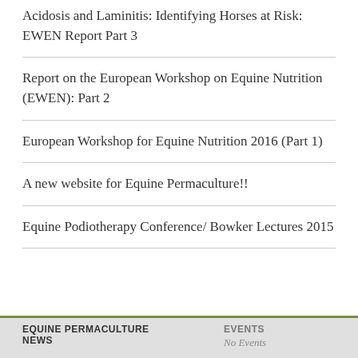Acidosis and Laminitis: Identifying Horses at Risk: EWEN Report Part 3
Report on the European Workshop on Equine Nutrition (EWEN): Part 2
European Workshop for Equine Nutrition 2016 (Part 1)
A new website for Equine Permaculture!!
Equine Podiotherapy Conference/ Bowker Lectures 2015
CATEGORIES
Select Category
EQUINE PERMACULTURE NEWS
EVENTS
No Events